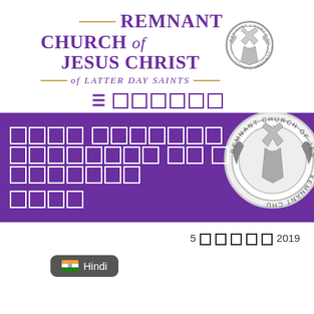[Figure (logo): Remnant Church of Jesus Christ of Latter Day Saints logo with decorative seal/emblem on the right, gold horizontal lines flanking the text, and purple serif lettering]
≡ □□□□□□
[Figure (infographic): Purple banner with white blocked/unrendered text characters representing Hindi script title, and a circular church seal on the right side]
5 □□□□□ 2019
[Figure (illustration): Hindi language selector button with Indian flag emoji and text 'Hindi' on dark rounded rectangle background]